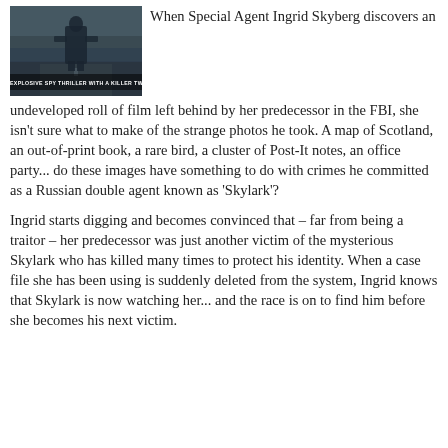[Figure (photo): Book cover showing a dark spy thriller image with a figure and text overlay reading 'AN EXPLOSIVE SPY THRILLER WITH A KILLER TWIST']
When Special Agent Ingrid Skyberg discovers an undeveloped roll of film left behind by her predecessor in the FBI, she isn't sure what to make of the strange photos he took. A map of Scotland, an out-of-print book, a rare bird, a cluster of Post-It notes, an office party... do these images have something to do with crimes he committed as a Russian double agent known as 'Skylark'?
Ingrid starts digging and becomes convinced that – far from being a traitor – her predecessor was just another victim of the mysterious Skylark who has killed many times to protect his identity. When a case file she has been using is suddenly deleted from the system, Ingrid knows that Skylark is now watching her... and the race is on to find him before she becomes his next victim.